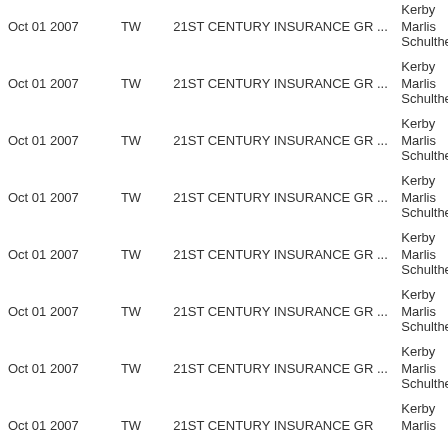| Date | Type | Company | Name | Role |
| --- | --- | --- | --- | --- |
|  |  |  | Kerby |  |
| Oct 01 2007 | TW | 21ST CENTURY INSURANCE GR ... | Marlis | Senior V |
|  |  |  | Schultheis |  |
|  |  |  | Kerby |  |
| Oct 01 2007 | TW | 21ST CENTURY INSURANCE GR ... | Marlis | Senior V |
|  |  |  | Schultheis |  |
|  |  |  | Kerby |  |
| Oct 01 2007 | TW | 21ST CENTURY INSURANCE GR ... | Marlis | Senior V |
|  |  |  | Schultheis |  |
|  |  |  | Kerby |  |
| Oct 01 2007 | TW | 21ST CENTURY INSURANCE GR ... | Marlis | Senior V |
|  |  |  | Schultheis |  |
|  |  |  | Kerby |  |
| Oct 01 2007 | TW | 21ST CENTURY INSURANCE GR ... | Marlis | Senior V |
|  |  |  | Schultheis |  |
|  |  |  | Kerby |  |
| Oct 01 2007 | TW | 21ST CENTURY INSURANCE GR ... | Marlis | Senior V |
|  |  |  | Schultheis |  |
|  |  |  | Kerby |  |
| Oct 01 2007 | TW | 21ST CENTURY INSURANCE GR ... | Marlis | Senior V |
|  |  |  | Schultheis |  |
|  |  |  | Kerby |  |
| Oct 01 2007 | TW | 21ST CENTURY INSURANCE GR ... | Marlis | Senior V |